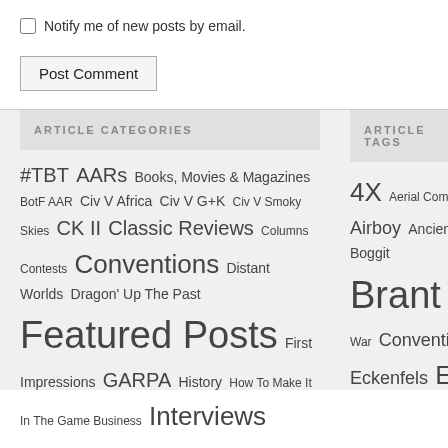Notify me of new posts by email.
Post Comment
ARTICLE CATEGORIES
#TBT AARs Books, Movies & Magazines BotF AAR Civ V Africa Civ V G+K Civ V Smoky Skies CK II Classic Reviews Columns Contests Conventions Distant Worlds Dragon' Up The Past Featured Posts First Impressions GARPA History How To Make It In The Game Business Interviews
ARTICLE TAGS
4X Aerial Combat Airboy Ancient Boggit Brant War Convention Eckenfels European Fantasy GARP History Industry Medieval Miniatures